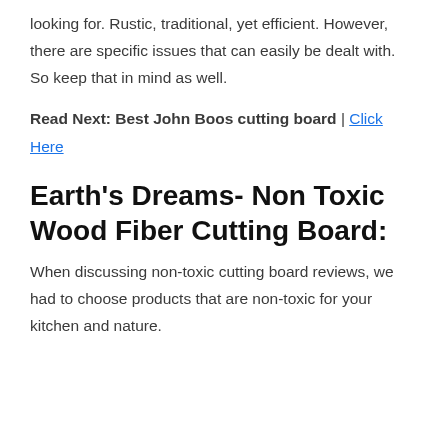looking for. Rustic, traditional, yet efficient. However, there are specific issues that can easily be dealt with. So keep that in mind as well.
Read Next: Best John Boos cutting board | Click Here
Earth's Dreams- Non Toxic Wood Fiber Cutting Board:
When discussing non-toxic cutting board reviews, we had to choose products that are non-toxic for your kitchen and nature.